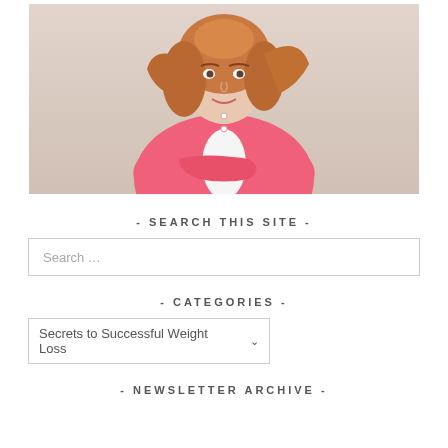[Figure (photo): Woman with auburn hair wearing a bright pink cardigan over a white top, standing with arms crossed against a light beige background.]
- SEARCH THIS SITE -
Search …
- CATEGORIES -
Secrets to Successful Weight Loss
- NEWSLETTER ARCHIVE -